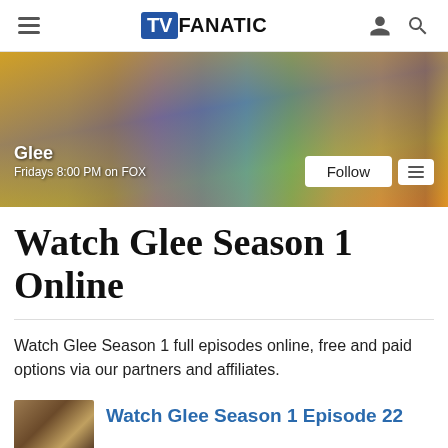TV FANATIC
[Figure (photo): Glee TV show cast promotional photo on yellow/colorful background. Text overlay: 'Glee' and 'Fridays 8:00 PM on FOX'. Follow button and menu icon in lower right.]
Watch Glee Season 1 Online
Watch Glee Season 1 full episodes online, free and paid options via our partners and affiliates.
Watch Glee Season 1 Episode 22